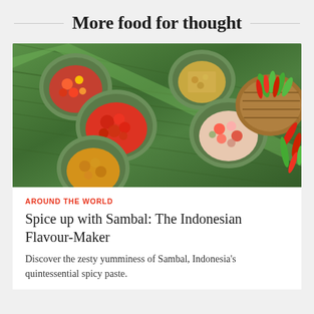More food for thought
[Figure (photo): Overhead view of multiple small bowls of colorful sambal (Indonesian spicy condiments) arranged on large green banana leaves, alongside a woven basket filled with red and green chili peppers]
AROUND THE WORLD
Spice up with Sambal: The Indonesian Flavour-Maker
Discover the zesty yumminess of Sambal, Indonesia's quintessential spicy paste.